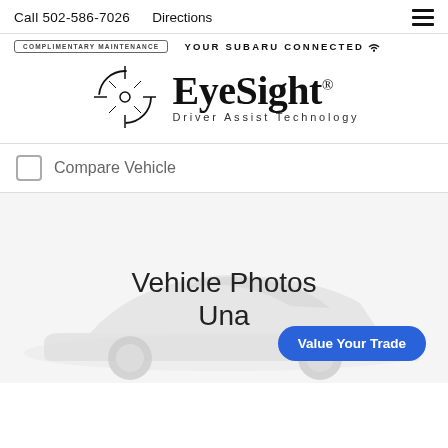Call 502-586-7026   Directions
[Figure (logo): Subaru EyeSight Driver Assist Technology logo with crosshair icon, COMPLIMENTARY MAINTENANCE badge, and YOUR SUBARU CONNECTED wifi badge]
Compare Vehicle
[Figure (photo): Vehicle Photos Unavailable - white car silhouette on light background]
Value Your Trade